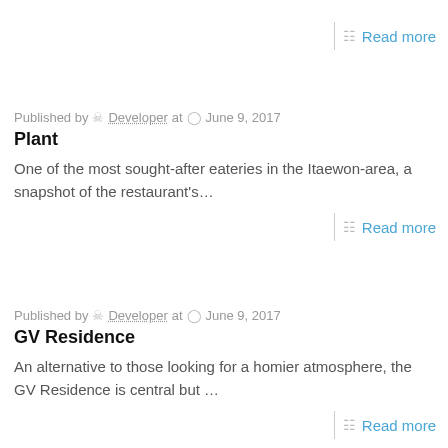Read more
Published by Developer at June 9, 2017
Plant
One of the most sought-after eateries in the Itaewon-area, a snapshot of the restaurant’s…
Read more
Published by Developer at June 9, 2017
GV Residence
An alternative to those looking for a homier atmosphere, the GV Residence is central but …
Read more